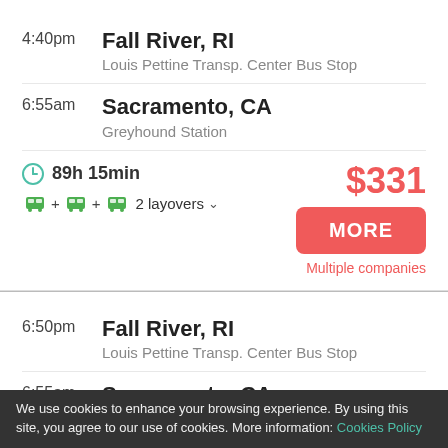4:40pm  Fall River, RI  Louis Pettine Transp. Center Bus Stop
6:55am  Sacramento, CA  Greyhound Station
89h 15min  $331  Bus + Bus + Bus  2 layovers  MORE  Multiple companies
6:50pm  Fall River, RI  Louis Pettine Transp. Center Bus Stop
6:55am  Sacramento, CA  Greyhound Station
We use cookies to enhance your browsing experience. By using this site, you agree to our use of cookies. More information: Cookies Policy